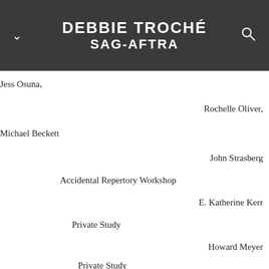DEBBIE TROCHÉ SAG-AFTRA
Jess Osuna,
Rochelle Oliver,
Michael Beckett
John Strasberg
Accidental Repertory Workshop
E. Katherine Kerr
Private Study
Howard Meyer
Private Study
Improvisation
Kate Spencer (101)
Upright Citizen's Brigade Theater
Doug Moe (201, 301)